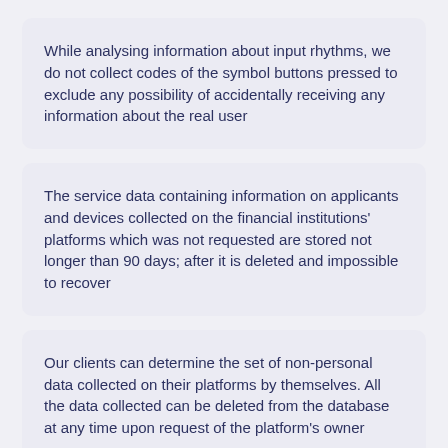While analysing information about input rhythms, we do not collect codes of the symbol buttons pressed to exclude any possibility of accidentally receiving any information about the real user
The service data containing information on applicants and devices collected on the financial institutions' platforms which was not requested are stored not longer than 90 days; after it is deleted and impossible to recover
Our clients can determine the set of non-personal data collected on their platforms by themselves. All the data collected can be deleted from the database at any time upon request of the platform's owner